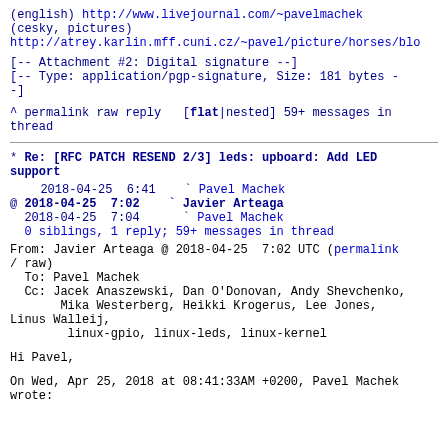(english) http://www.livejournal.com/~pavelmachek
(cesky, pictures)
http://atrey.karlin.mff.cuni.cz/~pavel/picture/horses/blo
[-- Attachment #2: Digital signature --]
[-- Type: application/pgp-signature, Size: 181 bytes -
-]
^ permalink raw reply   [flat|nested] 59+ messages in thread
* Re: [RFC PATCH RESEND 2/3] leds: upboard: Add LED support
2018-04-25  6:41    ` Pavel Machek
@ 2018-04-25  7:02    ` Javier Arteaga
  2018-04-25  7:04      ` Pavel Machek
  0 siblings, 1 reply; 59+ messages in thread
From: Javier Arteaga @ 2018-04-25  7:02 UTC (permalink / raw)
  To: Pavel Machek
  Cc: Jacek Anaszewski, Dan O'Donovan, Andy Shevchenko,
       Mika Westerberg, Heikki Krogerus, Lee Jones,
Linus Walleij,
        linux-gpio, linux-leds, linux-kernel
Hi Pavel,
On Wed, Apr 25, 2018 at 08:41:33AM +0200, Pavel Machek
wrote: